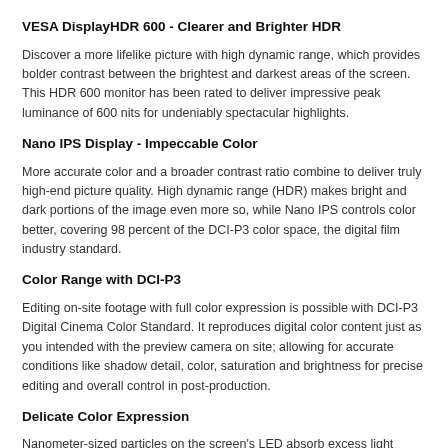VESA DisplayHDR 600 - Clearer and Brighter HDR
Discover a more lifelike picture with high dynamic range, which provides bolder contrast between the brightest and darkest areas of the screen. This HDR 600 monitor has been rated to deliver impressive peak luminance of 600 nits for undeniably spectacular highlights.
Nano IPS Display - Impeccable Color
More accurate color and a broader contrast ratio combine to deliver truly high-end picture quality. High dynamic range (HDR) makes bright and dark portions of the image even more so, while Nano IPS controls color better, covering 98 percent of the DCI-P3 color space, the digital film industry standard.
Color Range with DCI-P3
Editing on-site footage with full color expression is possible with DCI-P3 Digital Cinema Color Standard. It reproduces digital color content just as you intended with the preview camera on site; allowing for accurate conditions like shadow detail, color, saturation and brightness for precise editing and overall control in post-production.
Delicate Color Expression
Nanometer-sized particles on the screen's LED absorb excess light